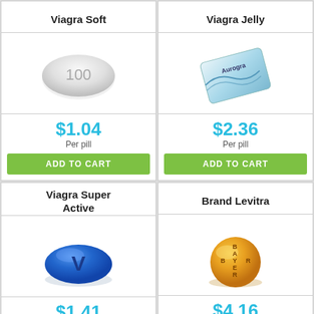Viagra Soft
[Figure (photo): White oval pill with '100' printed on it]
$1.04
Per pill
ADD TO CART
Viagra Jelly
[Figure (photo): Aurogra jelly packet, blue and white packaging]
$2.36
Per pill
ADD TO CART
Viagra Super Active
[Figure (photo): Blue oval pill with 'V' letter on it]
$1.41
Per cap
ADD TO CART
Brand Levitra
[Figure (photo): Gold/orange round pill with BAYER cross pattern]
$4.16
Per pill
ADD TO CART